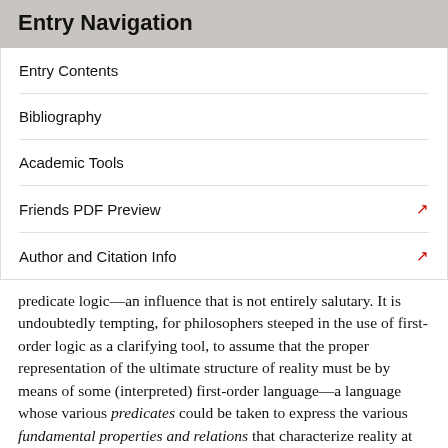Entry Navigation
Entry Contents
Bibliography
Academic Tools
Friends PDF Preview
Author and Citation Info
predicate logic—an influence that is not entirely salutary. It is undoubtedly tempting, for philosophers steeped in the use of first-order logic as a clarifying tool, to assume that the proper representation of the ultimate structure of reality must be by means of some (interpreted) first-order language—a language whose various predicates could be taken to express the various fundamental properties and relations that characterize reality at its most basic level. But if we look to physics instead—as we surely ought to—we find that the basic representational tools are variables, that correspond to physical magnitudes. Taking